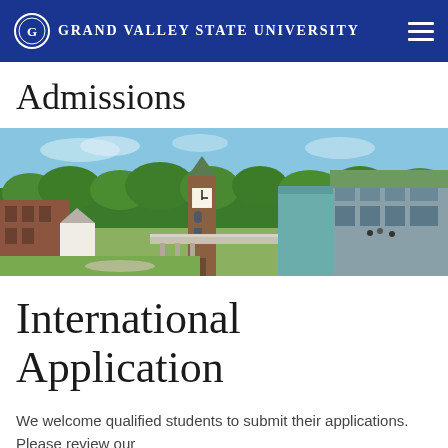Grand Valley State University
Admissions
[Figure (photo): Aerial view of Grand Valley State University campus showing the clock tower, surrounding trees, and modern buildings under a blue sky.]
International Application
We welcome qualified students to submit their applications. Please review our